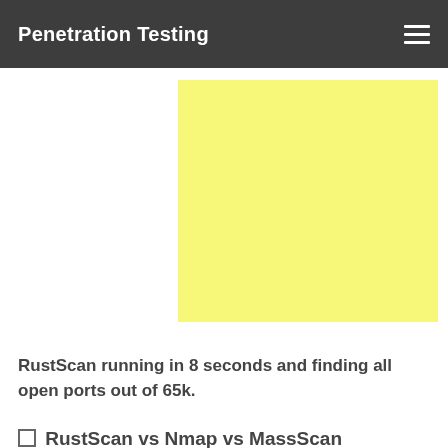Penetration Testing
[Figure (other): Yellow advertisement placeholder block]
RustScan running in 8 seconds and finding all open ports out of 65k.
☐ RustScan vs Nmap vs MassScan